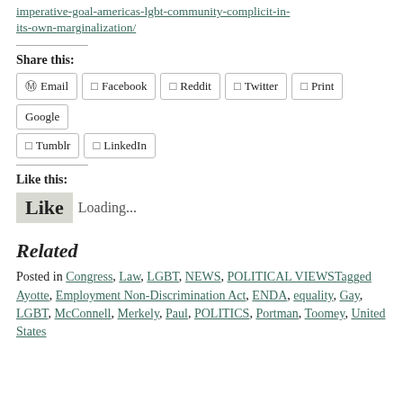imperative-goal-americas-lgbt-community-complicit-in-its-own-marginalization/
Share this:
Email, Facebook, Reddit, Twitter, Print, Google, Tumblr, LinkedIn
Like this:
Like Loading...
Related
Posted in Congress, Law, LGBT, NEWS, POLITICAL VIEWSTagged Ayotte, Employment Non-Discrimination Act, ENDA, equality, Gay, LGBT, McConnell, Merkely, Paul, POLITICS, Portman, Toomey, United States